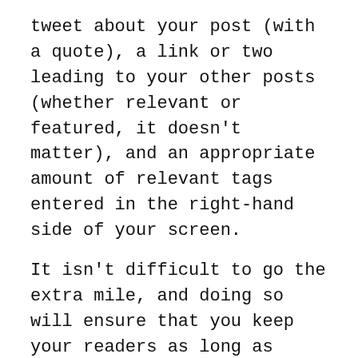tweet about your post (with a quote), a link or two leading to your other posts (whether relevant or featured, it doesn't matter), and an appropriate amount of relevant tags entered in the right-hand side of your screen.
It isn't difficult to go the extra mile, and doing so will ensure that you keep your readers as long as possible. Don't be lazy and look for shortcuts in post formatting; they don't exist. Spend the extra five minutes, and you'll see results.
[Figure (other): Horizontal double-line divider centered on the page]
Checking these four factors off your list is a huge